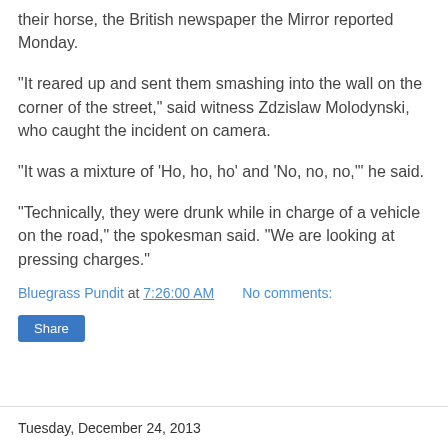their horse, the British newspaper the Mirror reported Monday.
"It reared up and sent them smashing into the wall on the corner of the street," said witness Zdzislaw Molodynski, who caught the incident on camera.
"It was a mixture of 'Ho, ho, ho' and 'No, no, no,'" he said.
"Technically, they were drunk while in charge of a vehicle on the road," the spokesman said. "We are looking at pressing charges."
Bluegrass Pundit at 7:26:00 AM    No comments:
Share
Tuesday, December 24, 2013